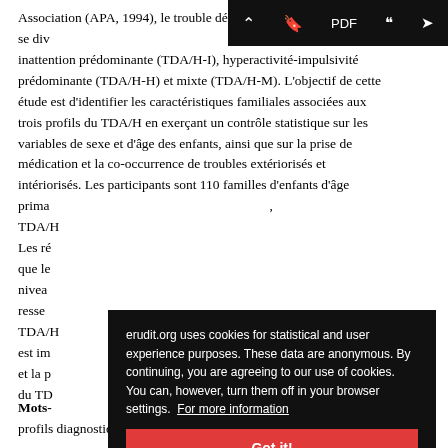Association (APA, 1994), le trouble défi­ l'attention/hyperactivité (TDA/H) se div­ inattention prédominante (TDA/H-I), hyperactivité-impulsivité prédominante (TDA/H-H) et mixte (TDA/H-M). L'objectif de cette étude est d'identifier les caractéristiques familiales associées aux trois profils du TDA/H en exerçant un contrôle statistique sur les variables de sexe et d'âge des enfants, ainsi que sur la prise de médication et la co-occurrence de troubles extériorisés et intériorisés. Les participants sont 110 familles d'enfants d'âge prima­ TDA/H­ Les ré­ que le­ nivea­ resse­ TDA/H­ est im­ et la p­ du TD­
[Figure (screenshot): Black toolbar with navigation buttons: chevron up, bookmark, PDF, quote, share]
erudit.org uses cookies for statistical and user experience purposes. These data are anonymous. By continuing, you are agreeing to our use of cookies. You can, however, turn them off in your browser settings. For more information
Got it!
Mots-­ profils diagnostiques, familles